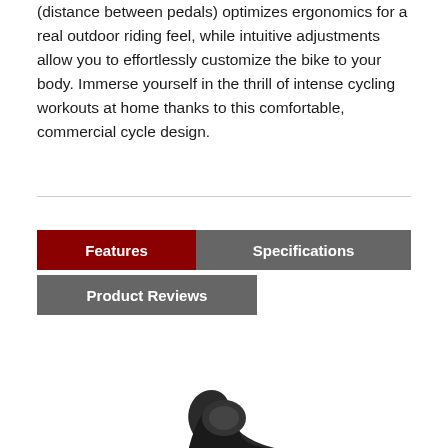(distance between pedals) optimizes ergonomics for a real outdoor riding feel, while intuitive adjustments allow you to effortlessly customize the bike to your body. Immerse yourself in the thrill of intense cycling workouts at home thanks to this comfortable, commercial cycle design.
Features
Specifications
Product Reviews
[Figure (photo): Partial view of a black exercise bike component visible at the bottom of the page]